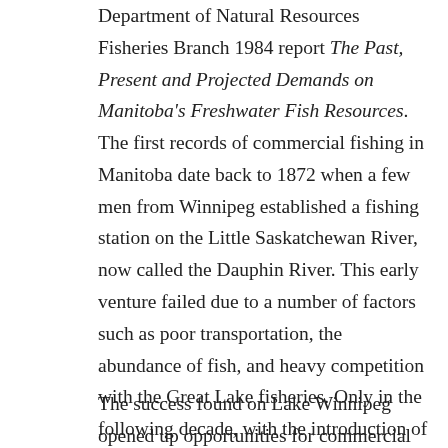Department of Natural Resources Fisheries Branch 1984 report The Past, Present and Projected Demands on Manitoba's Freshwater Fish Resources. The first records of commercial fishing in Manitoba date back to 1872 when a few men from Winnipeg established a fishing station on the Little Saskatchewan River, now called the Dauphin River. This early venture failed due to a number of factors such as poor transportation, the abundance of fish, and heavy competition with the Great Lake fisheries. Only in the following decade, with the introduction of efficient freight and fishing boats and the expanding market, did the industry became more commercially successful.
The success found on Lake Winnipeg opened up opportunities for commercial fishing on Manitoba's